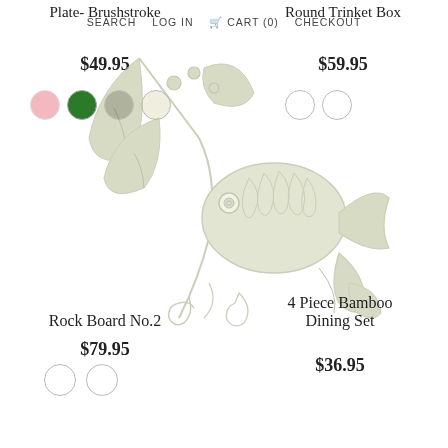SEARCH   LOG IN   CART (0)   CHECKOUT
Plate- Brushstroke
$49.95
Round Trinket Box
$59.95
[Figure (illustration): Decorative botanical and fish illustration in sage/olive green, showing leaves, berries, and a stylized fish with scrollwork, rendered in a light watercolor brushstroke style]
Rock Board No.2
$79.95
4 Piece Bamboo Dining Set
$36.95